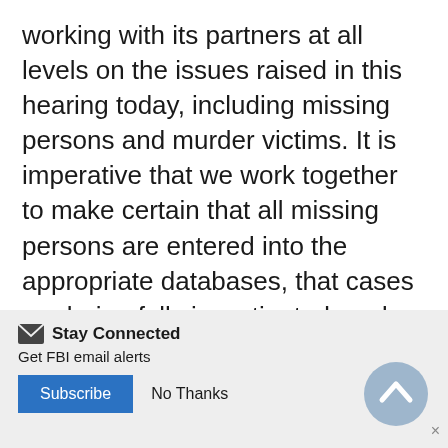working with its partners at all levels on the issues raised in this hearing today, including missing persons and murder victims. It is imperative that we work together to make certain that all missing persons are entered into the appropriate databases, that cases are being fully investigated, and that persons responsible for criminal activity in Indian Country are brought to justice. We look forward to continuing this important work and appreciate the support of this committee. Thank you for the opportunity to appear before you today. I am now happy to answer any questions.
Stay Connected
Get FBI email alerts
Subscribe   No Thanks